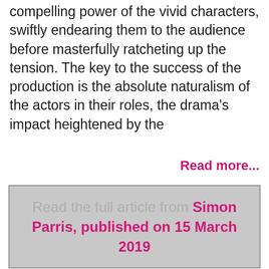compelling power of the vivid characters, swiftly endearing them to the audience before masterfully ratcheting up the tension. The key to the success of the production is the absolute naturalism of the actors in their roles, the drama's impact heightened by the
Read more...
Read the full article from Simon Parris, published on 15 March 2019
Tags: A View from the Bridge, Andrew Coshan, Arthur Miller, Australia, Damian Walshe-Howling, Daniela Farinacci, Iain Sinclair, Man in Chair, Marco